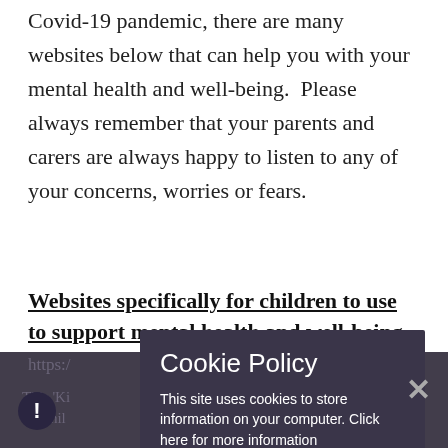Covid-19 pandemic, there are many websites below that can help you with your mental health and well-being.  Please always remember that your parents and carers are always happy to listen to any of your concerns, worries or fears.
Websites specifically for children to use to support mental health and well-being
[Figure (screenshot): Cookie Policy modal overlay on a dark semi-transparent background. Title: 'Cookie Policy'. Body: 'This site uses cookies to store information on your computer. Click here for more information'. Two buttons: 'Allow Cookies' and 'Deny Cookies'. A close X button on the right. An exclamation icon on the bottom left. Partially obscured text behind overlay.]